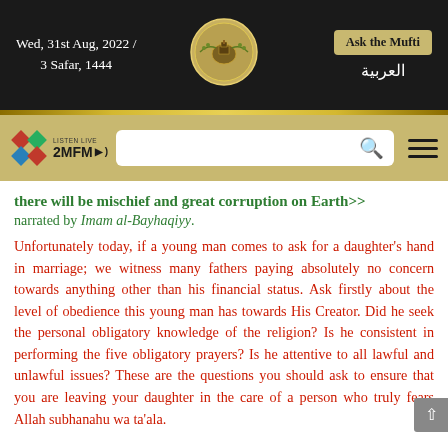Wed, 31st Aug, 2022 / 3 Safar, 1444
Ask the Mufti | العربية
LISTEN LIVE 2MFM
there will be mischief and great corruption on Earth>> narrated by Imam al-Bayhaqiyy.
Unfortunately today, if a young man comes to ask for a daughter's hand in marriage; we witness many fathers paying absolutely no concern towards anything other than his financial status. Ask firstly about the level of obedience this young man has towards His Creator. Did he seek the personal obligatory knowledge of the religion? Is he consistent in performing the five obligatory prayers? Is he attentive to all lawful and unlawful issues? These are the questions you should ask to ensure that you are leaving your daughter in the care of a person who truly fears Allah subhanahu wa ta'ala.